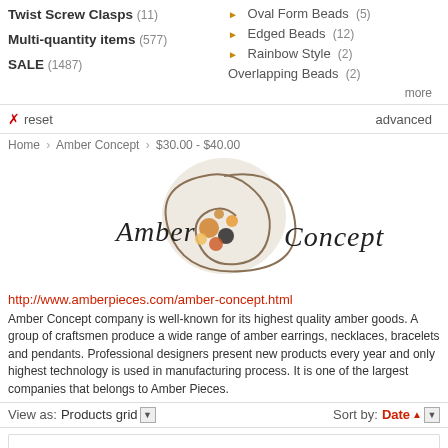Twist Screw Clasps (11)
Multi-quantity items (577)
SALE (1487)
Oval Form Beads (5)
Edged Beads (12)
Rainbow Style (2)
Overlapping Beads (2)
more
✕ reset    advanced
Home › Amber Concept › $30.00 - $40.00
[Figure (logo): Amber Concept company logo with decorative swirl and amber stones]
http://www.amberpieces.com/amber-concept.html
Amber Concept company is well-known for its highest quality amber goods. A group of craftsmen produce a wide range of amber earrings, necklaces, bracelets and pendants. Professional designers present new products every year and only highest technology is used in manufacturing process. It is one of the largest companies that belongs to Amber Pieces.
View as: Products grid ▼   Sort by: Date ▲ ▼
[Figure (screenshot): Product card area with AmberPieces.com watermark]